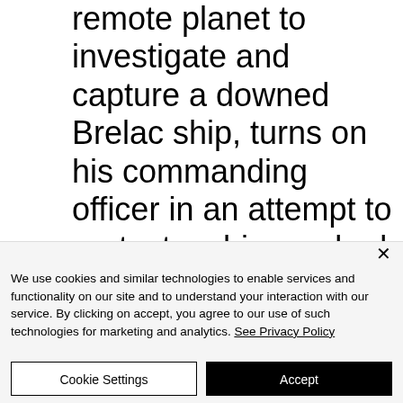remote planet to investigate and capture a downed Brelac ship, turns on his commanding officer in an attempt to protect a shipwrecked band of Brelac soldiers. But he is captured and reprogrammed – along with
We use cookies and similar technologies to enable services and functionality on our site and to understand your interaction with our service. By clicking on accept, you agree to our use of such technologies for marketing and analytics. See Privacy Policy
Cookie Settings
Accept